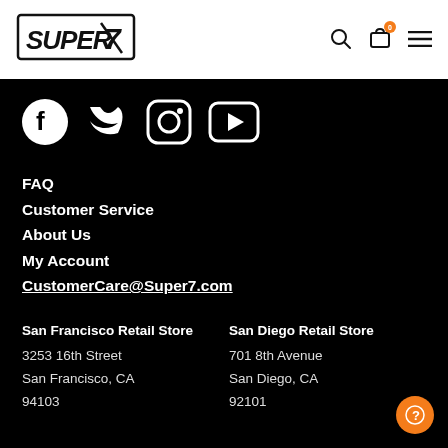Super7 — logo, search, bag, menu icons
[Figure (logo): Super7 stylized italic logo with border]
[Figure (infographic): Social media icons: Facebook, Twitter, Instagram, YouTube]
FAQ
Customer Service
About Us
My Account
CustomerCare@Super7.com
San Francisco Retail Store
3253 16th Street
San Francisco, CA
94103
San Diego Retail Store
701 8th Avenue
San Diego, CA
92101